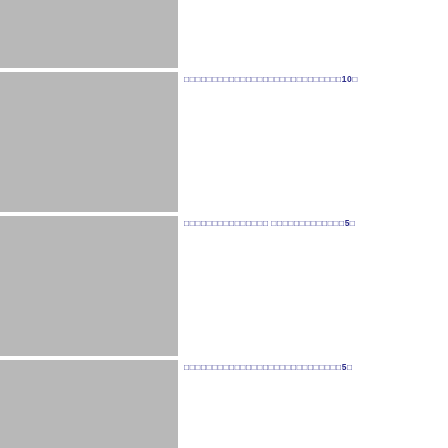[Figure (other): Gray placeholder image block 1]
[Figure (other): Gray placeholder image block 2]
□□□□□□□□□□□□□□□□□□□□□□□□□□□□10□
[Figure (other): Gray placeholder image block 3]
□□□□□□□□□□□□□□□ □□□□□□□□□□□□□5□
[Figure (other): Gray placeholder image block 4]
□□□□□□□□□□□□□□□□□□□□□□□□□□□□5□
[Figure (other): Gray placeholder image block 5 (partial)]